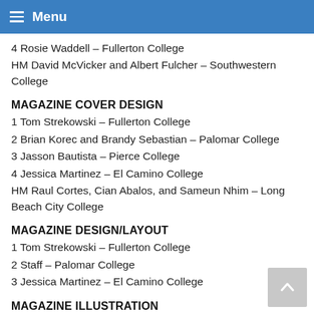Menu
4 Rosie Waddell – Fullerton College
HM David McVicker and Albert Fulcher – Southwestern College
MAGAZINE COVER DESIGN
1 Tom Strekowski – Fullerton College
2 Brian Korec and Brandy Sebastian – Palomar College
3 Jasson Bautista – Pierce College
4 Jessica Martinez – El Camino College
HM Raul Cortes, Cian Abalos, and Sameun Nhim – Long Beach City College
MAGAZINE DESIGN/LAYOUT
1 Tom Strekowski – Fullerton College
2 Staff – Palomar College
3 Jessica Martinez – El Camino College
MAGAZINE ILLUSTRATION
1 Maria Salvador – Pierce College
2 Tom Strekowski – Fullerton College
3 Eugene Chang – El Camino College